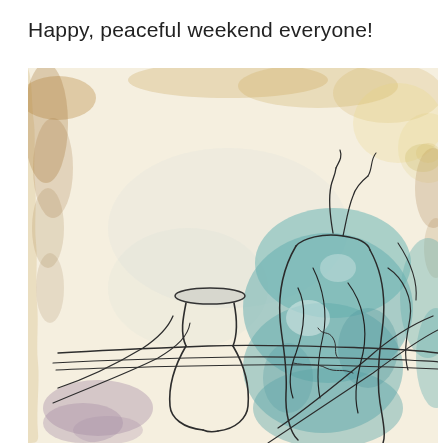Happy, peaceful weekend everyone!
[Figure (illustration): A watercolor and ink still life artwork showing two vases/vessels drawn with loose black line work. The left vase is outlined only with thin ink lines, the right vessel is filled with teal/turquoise watercolor wash. The background is aged paper with amber/golden watercolor stains at the edges and subtle washes of lavender and yellow. Loose ink lines suggest branches or stems. A small purple/mauve watercolor wash sits at the lower left.]